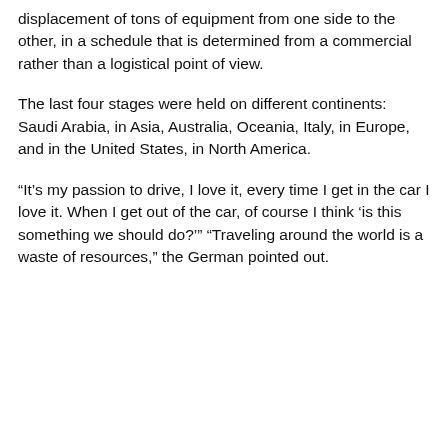displacement of tons of equipment from one side to the other, in a schedule that is determined from a commercial rather than a logistical point of view.
The last four stages were held on different continents: Saudi Arabia, in Asia, Australia, Oceania, Italy, in Europe, and in the United States, in North America.
“It’s my passion to drive, I love it, every time I get in the car I love it. When I get out of the car, of course I think ‘is this something we should do?’” “Traveling around the world is a waste of resources,” the German pointed out.